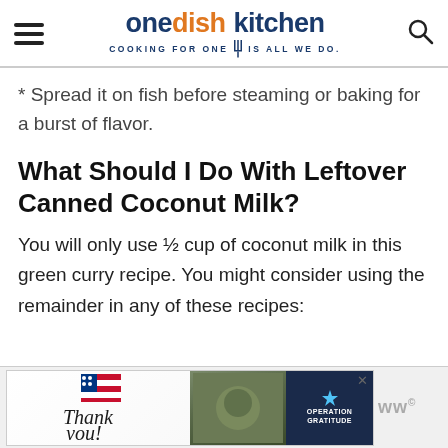one dish kitchen — COOKING FOR ONE IS ALL WE DO.
* Spread it on fish before steaming or baking for a burst of flavor.
What Should I Do With Leftover Canned Coconut Milk?
You will only use ½ cup of coconut milk in this green curry recipe. You might consider using the remainder in any of these recipes:
[Figure (other): Advertisement banner: 'Thank you' Operation Gratitude ad with military imagery]